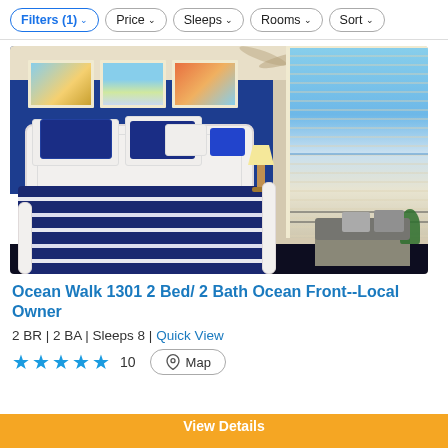Filters (1) | Price | Sleeps | Rooms | Sort
[Figure (photo): Hotel bedroom with navy blue and white striped bedding on a white sleigh bed, blue accent wall with framed beach paintings, floor-to-ceiling windows with ocean view, gray sofa on right side]
Ocean Walk 1301 2 Bed/ 2 Bath Ocean Front--Local Owner
2 BR | 2 BA | Sleeps 8 | Quick View
★★★★★ 10  Map
View Details